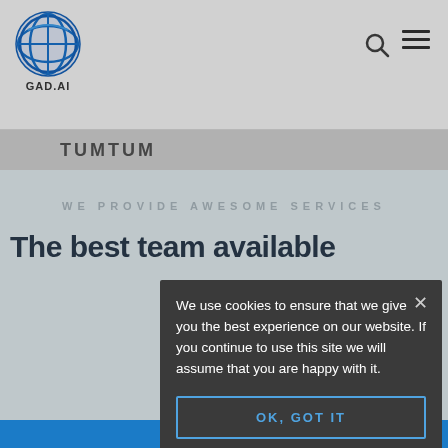[Figure (logo): GAD.AI globe logo with blue circular icon and text 'GAD.AI' below]
TUMTUM
WE PROVIDE AWESOME SERVICES
The best team available
We use cookies to ensure that we give you the best experience on our website. If you continue to use this site we will assume that you are happy with it.
OK, GOT IT